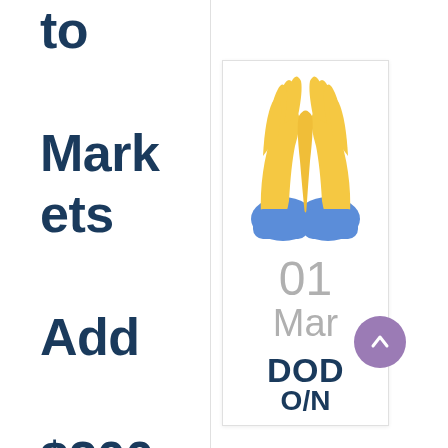to Markets Add $200 Billion as Bitcoin-
[Figure (illustration): Praying hands emoji (folded hands) with blue cuffs and yellow hands, inside a white card with border]
01 Mar
DOD
O/N